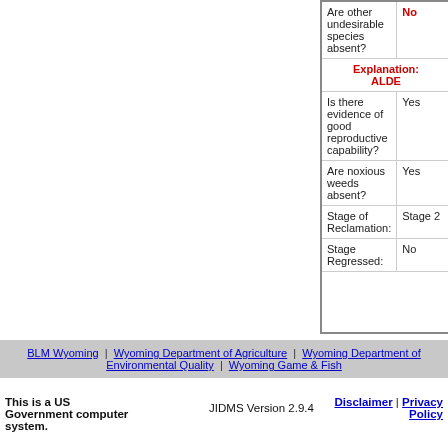| Question | Answer |
| --- | --- |
| Are other undesirable species absent? | No |
| Explanation: ALDE |  |
| Is there evidence of good reproductive capability? | Yes |
| Are noxious weeds absent? | Yes |
| Stage of Reclamation: | Stage 2 |
| Stage Regressed: | No |
BLM Wyoming | Wyoming Department of Agriculture | Wyoming Department of Environmental Quality | Wyoming Game & Fish
This is a US Government computer system.
JIDMS Version 2.9.4
Disclaimer | Privacy Policy